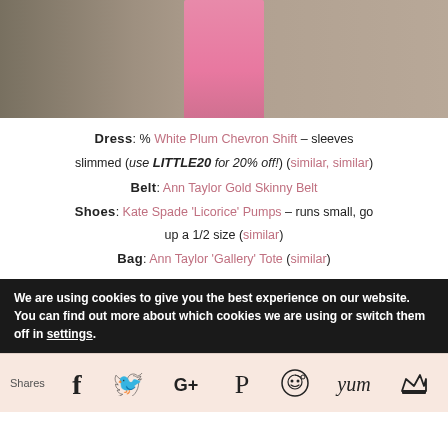[Figure (photo): Cropped fashion photo showing person in pink chevron shift dress outdoors near concrete structure]
Dress: % White Plum Chevron Shift – sleeves slimmed (use LITTLE20 for 20% off!) (similar, similar)
Belt: Ann Taylor Gold Skinny Belt
Shoes: Kate Spade 'Licorice' Pumps – runs small, go up a 1/2 size (similar)
Bag: Ann Taylor 'Gallery' Tote (similar)
We are using cookies to give you the best experience on our website.
You can find out more about which cookies we are using or switch them off in settings.
Shares [social share icons: Facebook, Twitter, Google+, Pinterest, Reddit, Yum, Crown]